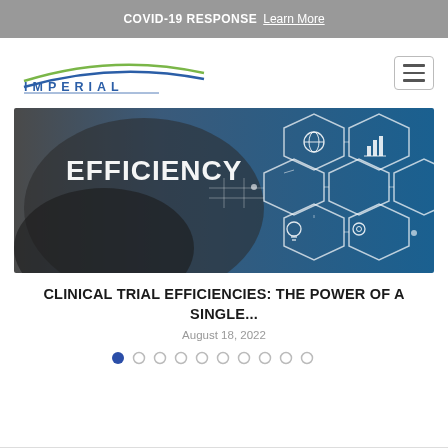COVID-19 RESPONSE  Learn More
[Figure (logo): Imperial Clinical Research Services logo with arc lines in green and blue above the text IMPERIAL CLINICAL RESEARCH SERVICES]
[Figure (photo): Photo of a person pointing at a digital interface with hexagon nodes and the word EFFICIENCY prominently displayed, along with icons for a globe, bar chart, lightbulb, and settings gear on a blue background]
CLINICAL TRIAL EFFICIENCIES: THE POWER OF A SINGLE...
August 18, 2022